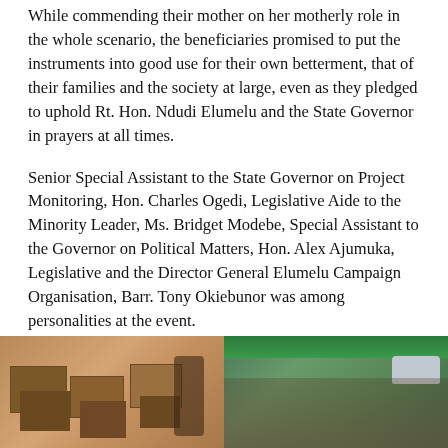While commending their mother on her motherly role in the whole scenario, the beneficiaries promised to put the instruments into good use for their own betterment, that of their families and the society at large, even as they pledged to uphold Rt. Hon. Ndudi Elumelu and the State Governor in prayers at all times.
Senior Special Assistant to the State Governor on Project Monitoring, Hon. Charles Ogedi, Legislative Aide to the Minority Leader, Ms. Bridget Modebe, Special Assistant to the Governor on Political Matters, Hon. Alex Ajumuka, Legislative and the Director General Elumelu Campaign Organisation, Barr. Tony Okiebunor was among personalities at the event.
<
[Figure (photo): Two photos side by side. Left photo shows boxes/packages stacked indoors with a person standing nearby. Right photo shows a group of people seated outdoors under a green awning/canopy with a vehicle visible in the background.]